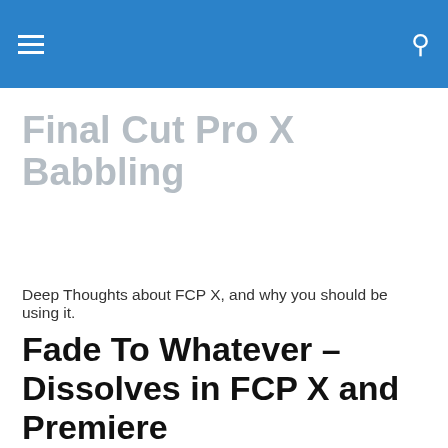Final Cut Pro X Babbling — navigation bar
Final Cut Pro X Babbling
Deep Thoughts about FCP X, and why you should be using it.
Fade To Whatever – Dissolves in FCP X and Premiere
Let's talk about dissolves… Yeah, I know, boring right?
Privacy & Cookies: This site uses cookies. By continuing to use this website, you agree to their use.
To find out more, including how to control cookies, see here: Cookie Policy
Close and accept
the shots and stacking them, or keyframing opacity in